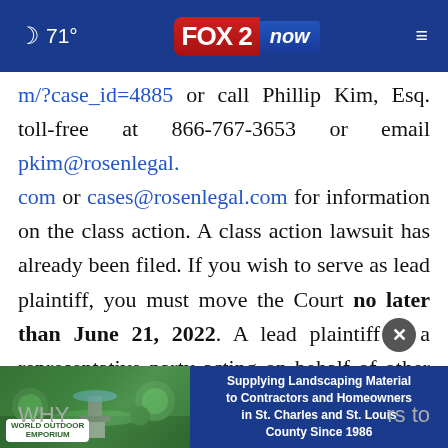71° FOX 2 now
m/?case_id=4885 or call Phillip Kim, Esq. toll-free at 866-767-3653 or email pkim@rosenlegal.com or cases@rosenlegal.com for information on the class action. A class action lawsuit has already been filed. If you wish to serve as lead plaintiff, you must move the Court no later than June 21, 2022. A lead plaintiff is a representative party acting on behalf of other class members in directing the litigatio
[Figure (screenshot): Advertisement banner for World Outdoor Emporium: 'Supplying Landscaping Material to Contractors and Homeowners in St. Charles and St. Louis County Since 1986']
WHY ... rs to